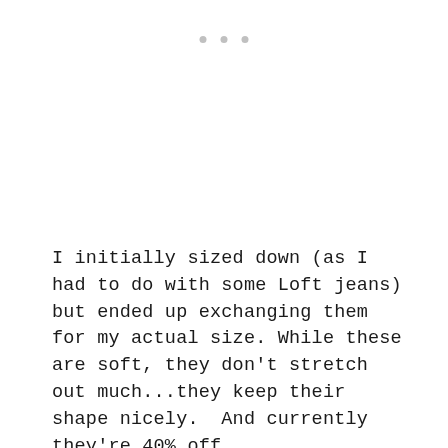[Figure (other): Three small grey dots arranged horizontally, serving as a decorative separator or ellipsis element]
I initially sized down (as I had to do with some Loft jeans) but ended up exchanging them for my actual size. While these are soft, they don't stretch out much...they keep their shape nicely.  And currently they're 40% off.